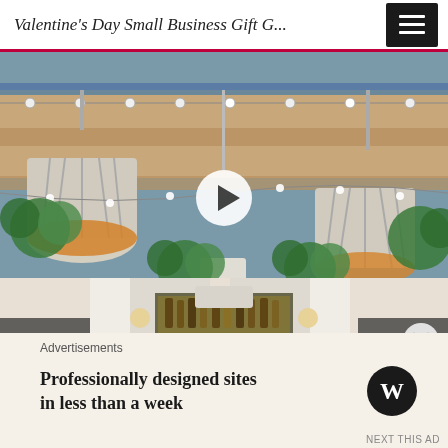Valentine's Day Small Business Gift G...
[Figure (photo): Interior of a stylish restaurant/bar with hanging pendant lights with striped lampshades, string lights, hanging plants, white curtains, and a bar area in the background. A video play button is overlaid in the center. A close (X) button appears in the bottom right of the video.]
Advertisements
[Figure (other): WordPress advertisement banner: 'Professionally designed sites in less than a week' with WordPress logo on the right]